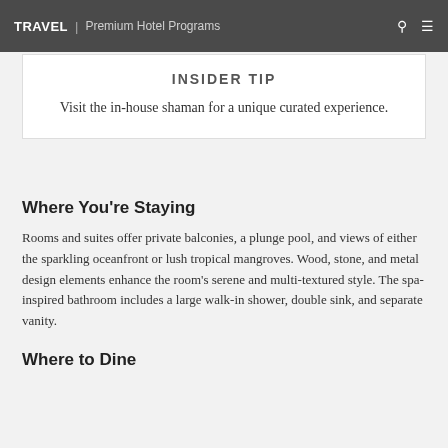TRAVEL | Premium Hotel Programs
INSIDER TIP
Visit the in-house shaman for a unique curated experience.
Where You're Staying
Rooms and suites offer private balconies, a plunge pool, and views of either the sparkling oceanfront or lush tropical mangroves. Wood, stone, and metal design elements enhance the room's serene and multi-textured style. The spa-inspired bathroom includes a large walk-in shower, double sink, and separate vanity.
Where to Dine